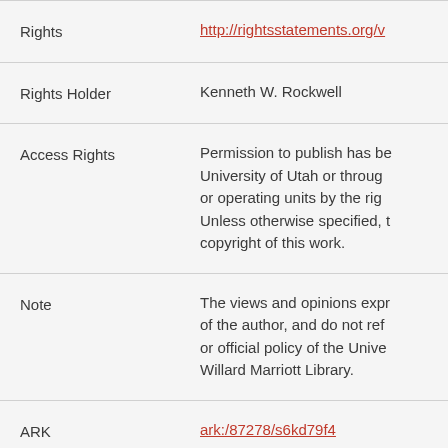| Field | Value |
| --- | --- |
| Rights | http://rightsstatements.org/v... |
| Rights Holder | Kenneth W. Rockwell |
| Access Rights | Permission to publish has be... University of Utah or throug... or operating units by the rig... Unless otherwise specified, t... copyright of this work. |
| Note | The views and opinions expr... of the author, and do not ref... or official policy of the Unive... Willard Marriott Library. |
| ARK | ark:/87278/s6kd79f4 |